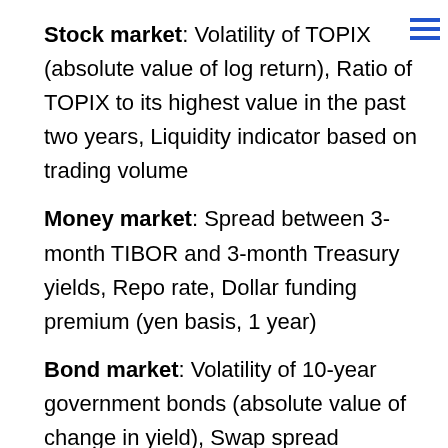Stock market: Volatility of TOPIX (absolute value of log return), Ratio of TOPIX to its highest value in the past two years, Liquidity indicator based on trading volume
Money market: Spread between 3-month TIBOR and 3-month Treasury yields, Repo rate, Dollar funding premium (yen basis, 1 year)
Bond market: Volatility of 10-year government bonds (absolute value of change in yield), Swap spread (difference between 2-year swap rate and 2-year government bond yield), BBB rated corporate bond spread
Financial intermediaries (banking sector): Specific shock on bank stocks (estimating the variance of the residuals obtained by regressing the returns of the bank